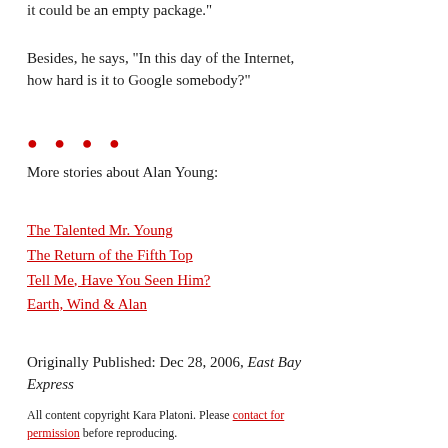it could be an empty package."
Besides, he says, "In this day of the Internet, how hard is it to Google somebody?"
• • • •
More stories about Alan Young:
The Talented Mr. Young
The Return of the Fifth Top
Tell Me, Have You Seen Him?
Earth, Wind & Alan
Originally Published: Dec 28, 2006, East Bay Express
All content copyright Kara Platoni. Please contact for permission before reproducing.